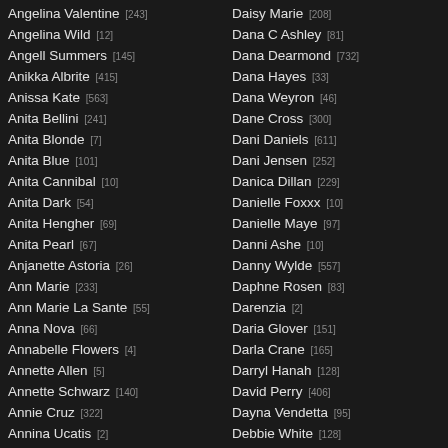Angelina Valentine [243]
Angelina Wild [12]
Angell Summers [145]
Anikka Albrite [415]
Anissa Kate [563]
Anita Bellini [241]
Anita Blonde [7]
Anita Blue [101]
Anita Cannibal [10]
Anita Dark [54]
Anita Hengher [69]
Anita Pearl [67]
Anjanette Astoria [26]
Ann Marie [233]
Ann Marie La Sante [55]
Anna Nova [66]
Annabelle Flowers [4]
Annette Allen [5]
Annette Schwarz [140]
Annie Cruz [322]
Annina Ucatis [2]
April O Neil —
Daisy Marie [208]
Dana C Ashley [81]
Dana Dearmond [732]
Dana Hayes [33]
Dana Weyron [46]
Dane Cross [300]
Dani Daniels [611]
Dani Jensen [252]
Danica Dillan [229]
Danielle Foxxx [10]
Danielle Maye [97]
Danni Ashe [10]
Danny Wylde [557]
Daphne Rosen [83]
Darenzia [2]
Daria Glover [151]
Darla Crane [165]
Darryl Hanah [128]
David Perry [406]
Dayna Vendetta [95]
Debbie White [128]
Debi Diamond —